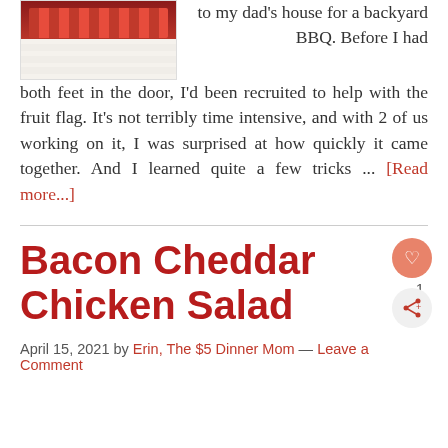[Figure (photo): Partial view of a fruit flag dish with red strawberries/raspberries on top and white cream/base below, arranged in rows]
to my dad's house for a backyard BBQ. Before I had both feet in the door, I'd been recruited to help with the fruit flag. It's not terribly time intensive, and with 2 of us working on it, I was surprised at how quickly it came together. And I learned quite a few tricks ... [Read more...]
Bacon Cheddar Chicken Salad
April 15, 2021 by Erin, The $5 Dinner Mom — Leave a Comment